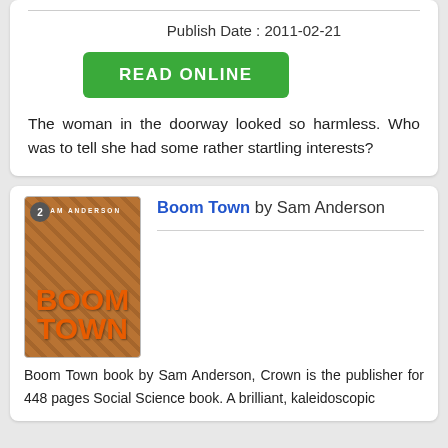Publish Date : 2011-02-21
READ ONLINE
The woman in the doorway looked so harmless. Who was to tell she had some rather startling interests?
[Figure (illustration): Book cover of Boom Town by Sam Anderson showing the title in large orange letters on a brown background]
Boom Town by Sam Anderson
Boom Town book by Sam Anderson, Crown is the publisher for 448 pages Social Science book. A brilliant, kaleidoscopic